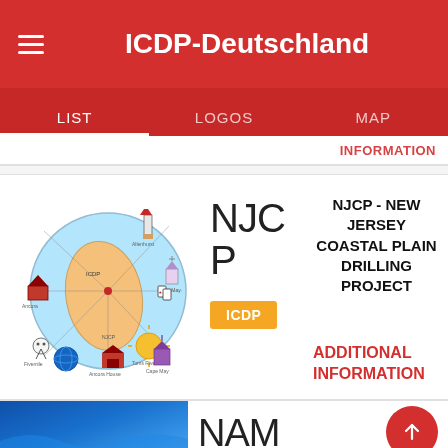ICDP-Deutschland
LIST | LOGOS | MAP
INFORMATION
[Figure (illustration): NJCP project illustration showing a circular map of New Jersey coast with various landmark icons around it including a barn, lighthouse, skeleton, church, and other coastal features]
NJCP
ICDP
NJCP - NEW JERSEY COASTAL PLAIN DRILLING PROJECT
ADDITIONAL INFORMATION
[Figure (photo): Blue water/ocean photo at bottom of page]
NAM
NAM CO